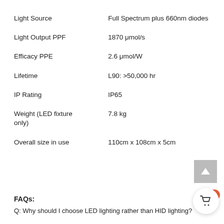| Specification | Value |
| --- | --- |
| Light Source | Full Spectrum plus 660nm diodes |
| Light Output PPF | 1870 μmol/s |
| Efficacy PPE | 2.6 μmol/W |
| Lifetime | L90: >50,000 hr |
| IP Rating | IP65 |
| Weight (LED fixture only) | 7.8 kg |
| Overall size in use | 110cm x 108cm x 5cm |
FAQs:
Q: Why should I choose LED lighting rather than HID lighting?